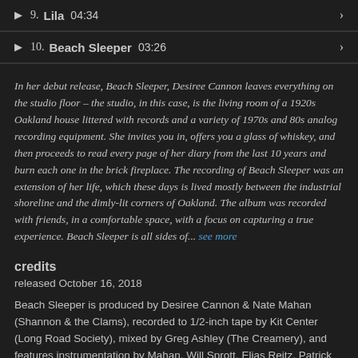9. Lila 04:34
10. Beach Sleeper 03:26
In her debut release, Beach Sleeper, Desiree Cannon leaves everything on the studio floor – the studio, in this case, is the living room of a 1920s Oakland house littered with records and a variety of 1970s and 80s analog recording equipment. She invites you in, offers you a glass of whiskey, and then proceeds to read every page of her diary from the last 10 years and burn each one in the brick fireplace. The recording of Beach Sleeper was an extension of her life, which these days is lived mostly between the industrial shoreline and the dimly-lit corners of Oakland. The album was recorded with friends, in a comfortable space, with a focus on capturing a true experience. Beach Sleeper is all sides of... see more
credits
released October 16, 2018
Beach Sleeper is produced by Desiree Cannon & Nate Mahan (Shannon & the Clams), recorded to 1/2-inch tape by Kit Center (Long Road Society), mixed by Greg Ashley (The Creamery), and features instrumentation by Mahan, Will Sprott, Elias Reitz, Patrick Murphy, & Aviva Lipkowitz